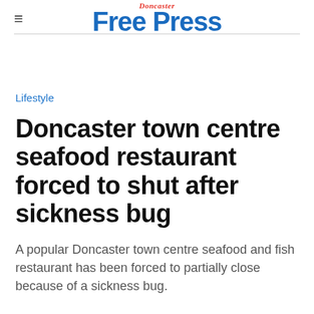Doncaster Free Press
Lifestyle
Doncaster town centre seafood restaurant forced to shut after sickness bug
A popular Doncaster town centre seafood and fish restaurant has been forced to partially close because of a sickness bug.